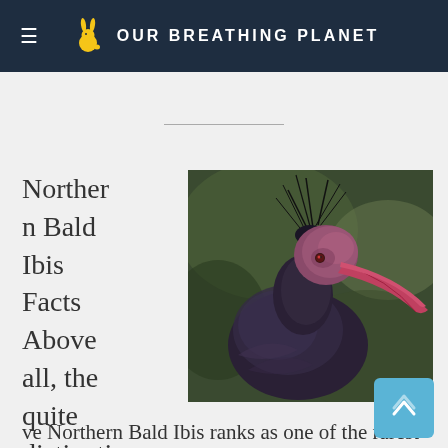OUR BREATHING PLANET
[Figure (photo): Close-up photograph of a Northern Bald Ibis bird with dark iridescent feathers, wispy black crest feathers, and a distinctive bare pink-red face and long curved red-pink beak, against a blurred dark green background.]
Northern Bald Ibis Facts
Above all, the quite distinctive Northern Bald Ibis ranks as one of the rarest and most endangered of all known migratory